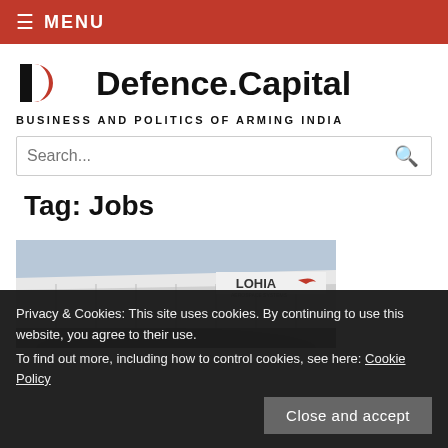≡ MENU
Defence.Capital — BUSINESS AND POLITICS OF ARMING INDIA
Search...
Tag: Jobs
[Figure (photo): Exterior photo of Lohia Aerospace building with sign reading LOHIA]
Privacy & Cookies: This site uses cookies. By continuing to use this website, you agree to their use.
To find out more, including how to control cookies, see here: Cookie Policy
Close and accept